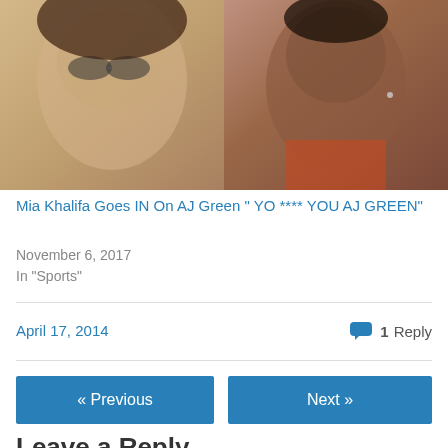[Figure (photo): Two people side by side: a woman with sunglasses on left, a man in sports jersey on right]
Mia Khalifa Goes IN On AJ Green " YO **** YOU AJ GREEN"
November 6, 2017
In "Sports"
April 17, 2014
1 Reply
« Previous
Next »
Leave a Reply